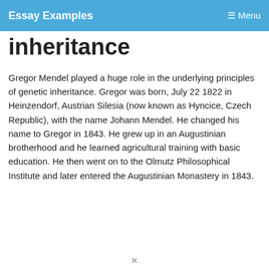Essay Examples   Menu
inheritance
Gregor Mendel played a huge role in the underlying principles of genetic inheritance. Gregor was born, July 22 1822 in Heinzendorf, Austrian Silesia (now known as Hyncice, Czech Republic), with the name Johann Mendel. He changed his name to Gregor in 1843. He grew up in an Augustinian brotherhood and he learned agricultural training with basic education. He then went on to the Olmutz Philosophical Institute and later entered the Augustinian Monastery in 1843.